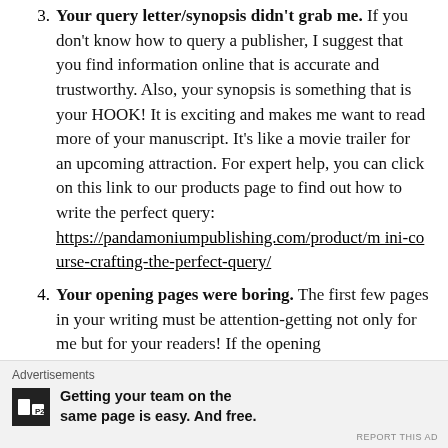3. Your query letter/synopsis didn't grab me. If you don't know how to query a publisher, I suggest that you find information online that is accurate and trustworthy. Also, your synopsis is something that is your HOOK! It is exciting and makes me want to read more of your manuscript. It's like a movie trailer for an upcoming attraction. For expert help, you can click on this link to our products page to find out how to write the perfect query: https://pandamoniumpublishing.com/product/mini-course-crafting-the-perfect-query/
4. Your opening pages were boring. The first few pages in your writing must be attention-getting not only for me but for your readers! If the opening
Advertisements
Getting your team on the same page is easy. And free.